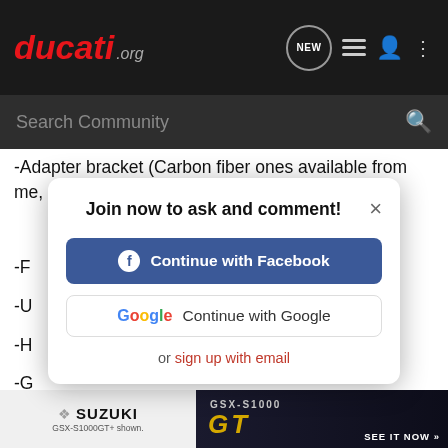ducati.org
Search Community
-Adapter bracket (Carbon fiber ones available from me, PM me for info)
-F...
-U...
-H...
-G...
-M...
for some people the generic kinds work too at this affiliated link here: ht...
[Figure (screenshot): Modal dialog: 'Join now to ask and comment!' with Continue with Facebook button, Continue with Google button, and 'or sign up with email' link. Close (×) button in top right.]
[Figure (screenshot): Suzuki GSX-S1000GT advertisement banner at bottom of page showing the motorcycle and 'SEE IT NOW >>' call to action.]